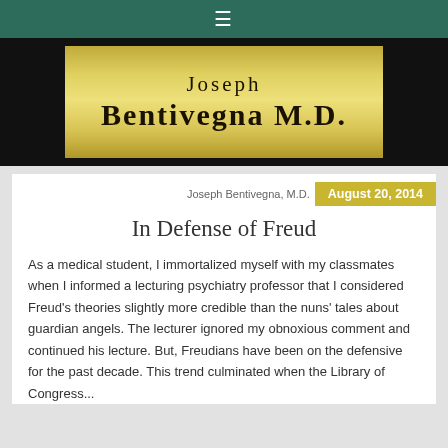[Figure (logo): Navigation bar with hamburger menu icon on dark green background]
[Figure (logo): Joseph Bentivegna M.D. gold banner logo on black background]
Joseph Bentivegna, M.D.   August 20, 2014
In Defense of Freud
As a medical student, I immortalized myself with my classmates when I informed a lecturing psychiatry professor that I considered Freud's theories slightly more credible than the nuns' tales about guardian angels. The lecturer ignored my obnoxious comment and continued his lecture. But, Freudians have been on the defensive for the past decade. This trend culminated when the Library of Congress...